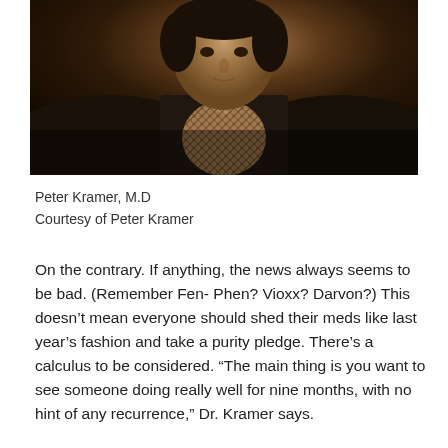[Figure (photo): Portrait photo of Peter Kramer, M.D., a man wearing a dark blazer and a plaid/checkered shirt, photographed from the chest up against a dark background.]
Peter Kramer, M.D
Courtesy of Peter Kramer
On the contrary. If anything, the news always seems to be bad. (Remember Fen- Phen? Vioxx? Darvon?) This doesn't mean everyone should shed their meds like last year's fashion and take a purity pledge. There's a calculus to be considered. “The main thing is you want to see someone doing really well for nine months, with no hint of any recurrence,” Dr. Kramer says.